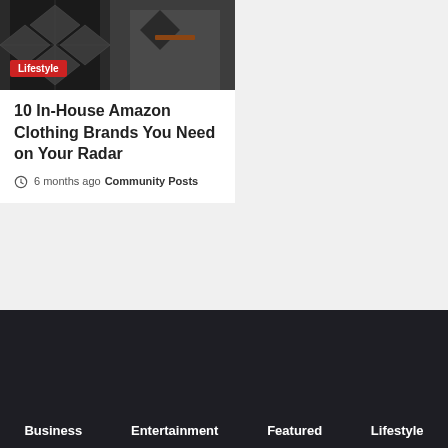Posts
[Figure (photo): Person wearing argyle patterned vest and another in dark jacket, fashion photo]
Lifestyle
10 In-House Amazon Clothing Brands You Need on Your Radar
6 months ago  Community Posts
Business  Entertainment  Featured  Lifestyle